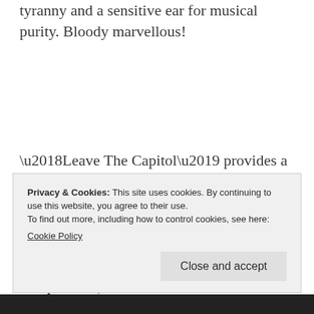tyranny and a sensitive ear for musical purity. Bloody marvellous!
‘Leave The Capitol’ provides a fitting climax. It’s wiry and punchy and bouncily infectious in equal measure, as Mark’s invective spills over in this Arthur Machen inspired tirade at old ‘Lahndan Tahn, (‘this f-ing dump’) where he exhorts himself to ‘Exit this
Privacy & Cookies: This site uses cookies. By continuing to use this website, you agree to their use.
To find out more, including how to control cookies, see here: Cookie Policy
Close and accept